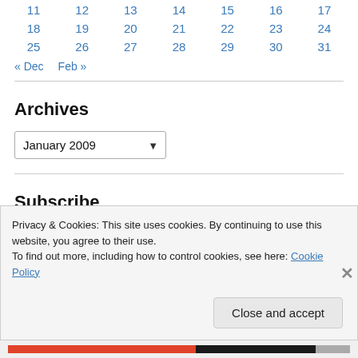| 11 | 12 | 13 | 14 | 15 | 16 | 17 |
| 18 | 19 | 20 | 21 | 22 | 23 | 24 |
| 25 | 26 | 27 | 28 | 29 | 30 | 31 |
« Dec   Feb »
Archives
January 2009
Subscribe
Privacy & Cookies: This site uses cookies. By continuing to use this website, you agree to their use.
To find out more, including how to control cookies, see here: Cookie Policy
Close and accept